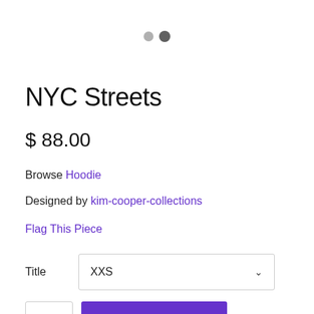[Figure (other): Two pagination dots: a lighter gray dot and a darker gray dot, indicating an image carousel position]
NYC Streets
$ 88.00
Browse Hoodie
Designed by kim-cooper-collections
Flag This Piece
Title  XXS
1  ADD TO CART